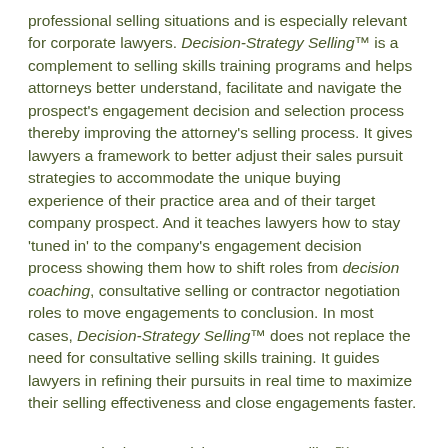professional selling situations and is especially relevant for corporate lawyers. Decision-Strategy Selling™ is a complement to selling skills training programs and helps attorneys better understand, facilitate and navigate the prospect's engagement decision and selection process thereby improving the attorney's selling process. It gives lawyers a framework to better adjust their sales pursuit strategies to accommodate the unique buying experience of their practice area and of their target company prospect. And it teaches lawyers how to stay 'tuned in' to the company's engagement decision process showing them how to shift roles from decision coaching, consultative selling or contractor negotiation roles to move engagements to conclusion. In most cases, Decision-Strategy Selling™ does not replace the need for consultative selling skills training. It guides lawyers in refining their pursuits in real time to maximize their selling effectiveness and close engagements faster.
Lawyers who learn Decision-Strategy Selling™ techniques earn trusted adviser status more quickly because they learn how to facilitate decisions and avoid using consultative